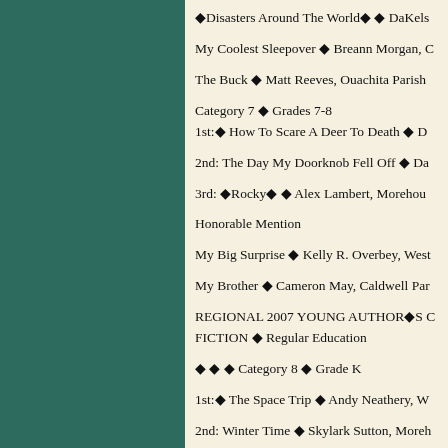�Disasters Around The World� � DaKels
My Coolest Sleepover � Breann Morgan, C
The Buck � Matt Reeves, Ouachita Parish
Category 7 � Grades 7-8
1st:� How To Scare A Deer To Death � D
2nd: The Day My Doorknob Fell Off � Da
3rd: �Rocky� � Alex Lambert, Morehou
Honorable Mention
My Big Surprise � Kelly R. Overbey, West
My Brother � Cameron May, Caldwell Par
REGIONAL 2007 YOUNG AUTHORÆS C FICTION � Regular Education
� � � Category 8 � Grade K
1st:� The Space Trip � Andy Neathery, W
2nd: Winter Time � Skylark Sutton, Moreh